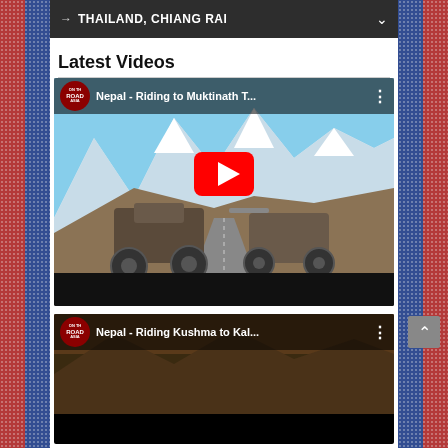→ THAILAND, CHIANG RAI
Latest Videos
[Figure (screenshot): YouTube video thumbnail showing two motorcycles parked on a mountain road with snow-capped Himalayan peaks in the background. Channel logo 'ON THE ROAD ASIA' visible top-left. Title reads 'Nepal - Riding to Muktinath T...' with a large red YouTube play button overlay.]
[Figure (screenshot): Second YouTube video thumbnail showing a partial view. Channel logo 'ON THE ROAD ASIA' visible. Title reads 'Nepal - Riding Kushma to Kal...' with three-dots menu icon.]